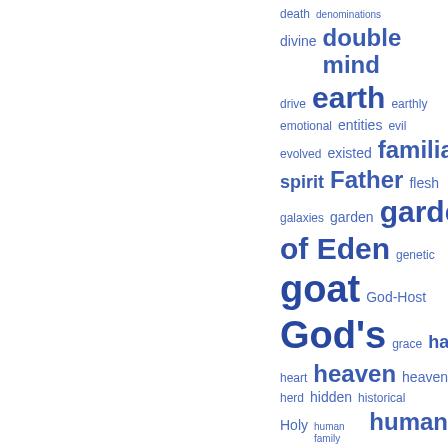[Figure (other): Word cloud showing religious and theological terms in varying sizes indicating frequency. Words include: death, denominations, divine, double mind, drive, earth, earthly, emotional, entities, evil, evolved, existed, familiar spirit, Father, flesh, galaxies, garden, garden of Eden, genetic, goat, God-Host, God's, grace, hath, heart, heaven, heavenly, herd, hidden, historical, Holy, human family, human nature, humankind, Idolatry, individual, invisible, Israel, John, king, Kingdomism, kinglet]